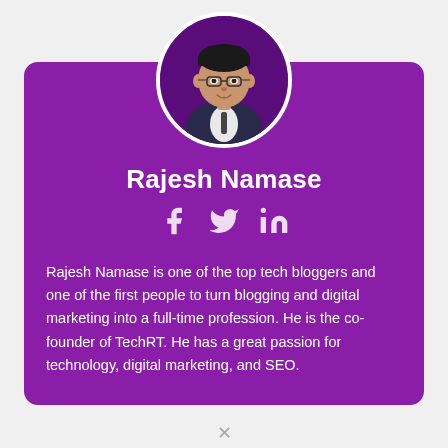[Figure (photo): Circular profile photo of Rajesh Namase, a man wearing glasses and a suit with tie]
Rajesh Namase
[Figure (infographic): Social media icons: Facebook, Twitter, LinkedIn]
Rajesh Namase is one of the top tech bloggers and one of the first people to turn blogging and digital marketing into a full-time profession. He is the co-founder of TechRT. He has a great passion for technology, digital marketing, and SEO.